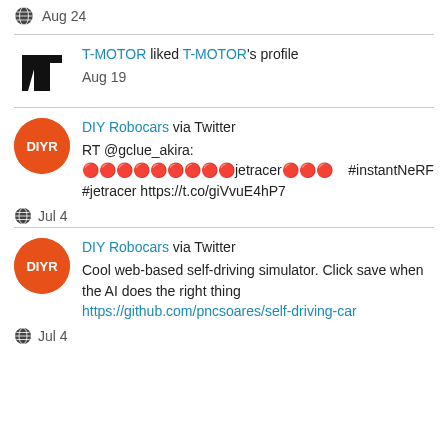Aug 24
T-MOTOR liked T-MOTOR's profile
Aug 19
DIY Robocars via Twitter
RT @gclue_akira: 🔴🔴🔴🔴🔴🔴🔴🔴🔴jetracer🔴🔴🔴    #instantNeRF #jetracer https://t.co/giVvuE4hP7
Jul 4
DIY Robocars via Twitter
Cool web-based self-driving simulator. Click save when the AI does the right thing https://github.com/pncsoares/self-driving-car
Jul 4